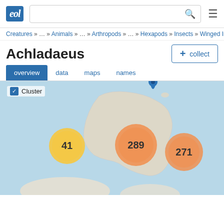eol [logo] [search bar] [menu icon]
Creatures » … » Animals » … » Arthropods » … » Hexapods » Insects » Winged Inse
Achladaeus
+ collect
overview   data   maps   names
[Figure (map): Interactive map showing clustered observation points around Australia and surrounding Pacific region. Three cluster bubbles visible: one yellow bubble labeled 41 (west of Australia), one orange bubble labeled 289 (central Australia coast area), one orange bubble labeled 271 (east/Pacific area). A single map pin is visible near northern Australia. Cluster checkbox is checked.]